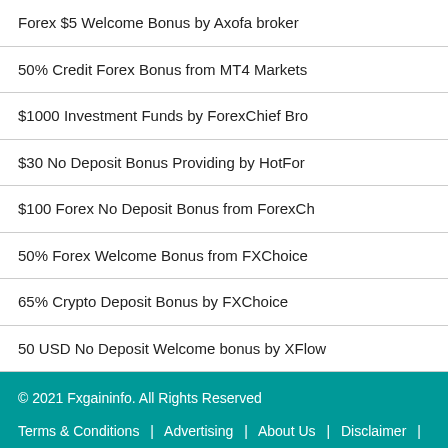Forex $5 Welcome Bonus by Axofa broker
50% Credit Forex Bonus from MT4 Markets
$1000 Investment Funds by ForexChief Bro
$30 No Deposit Bonus Providing by HotFor
$100 Forex No Deposit Bonus from ForexCh
50% Forex Welcome Bonus from FXChoice
65% Crypto Deposit Bonus by FXChoice
50 USD No Deposit Welcome bonus by XFlow
© 2021 Fxgaininfo. All Rights Reserved
Terms & Conditions | Advertising | About Us | Disclaimer | Contact Us